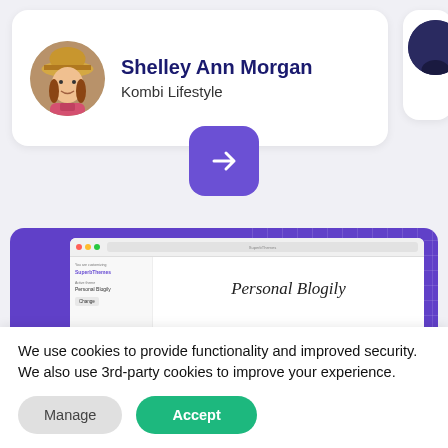[Figure (screenshot): User profile card showing Shelley Ann Morgan from Kombi Lifestyle with circular avatar photo, on a light gray background. A purple arrow button appears below the card.]
[Figure (screenshot): Website screenshot showing 'Personal Blogily' theme on a purple background with a browser-like UI panel on the left side.]
We use cookies to provide functionality and improved security. We also use 3rd-party cookies to improve your experience.
Manage
Accept